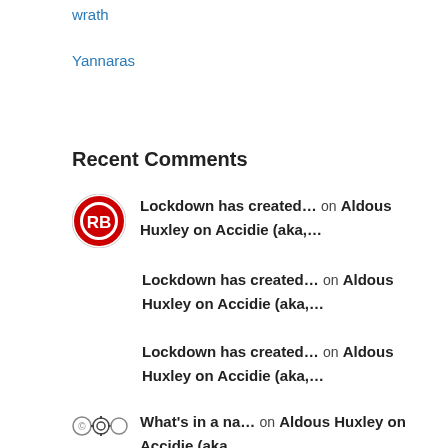wrath
Yannaras
Recent Comments
Lockdown has created… on Aldous Huxley on Accidie (aka,…
Lockdown has created… on Aldous Huxley on Accidie (aka,…
Lockdown has created… on Aldous Huxley on Accidie (aka,…
What's in a na… on Aldous Huxley on Accidie (aka,…
Possessed in America… on Aldous Huxley on Accidie (aka,…